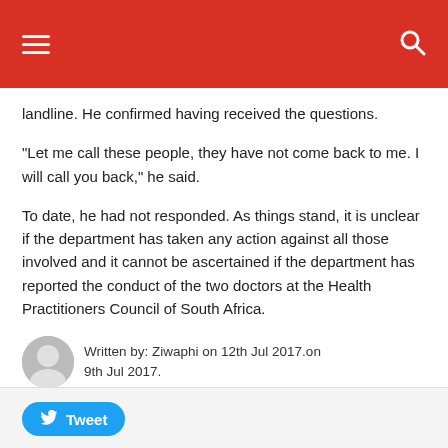Navigation header with menu and search icons
landline. He confirmed having received the questions.
“Let me call these people, they have not come back to me. I will call you back,” he said.
To date, he had not responded. As things stand, it is unclear if the department has taken any action against all those involved and it cannot be ascertained if the department has reported the conduct of the two doctors at the Health Practitioners Council of South Africa.
Written by: Ziwaphi on 12th Jul 2017.on 9th Jul 2017.
[Figure (other): Social sharing buttons: Facebook, Twitter, LinkedIn, WhatsApp, Messenger, Share/More]
[Figure (other): Tweet button widget]